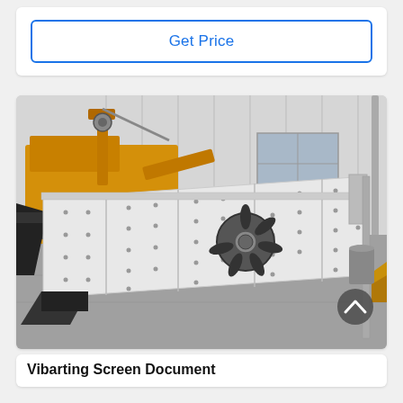Get Price
[Figure (photo): A large white vibrating screen industrial machine leaning against a wall inside a factory or warehouse. On the left side, there is a yellow heavy construction machine (crusher/excavator). The vibrating screen is white with bolted panels and a visible fan/vibration motor in the center. The setting is an industrial yard with grey concrete flooring and a corrugated metal wall with windows in the background.]
Vibarting Screen Document